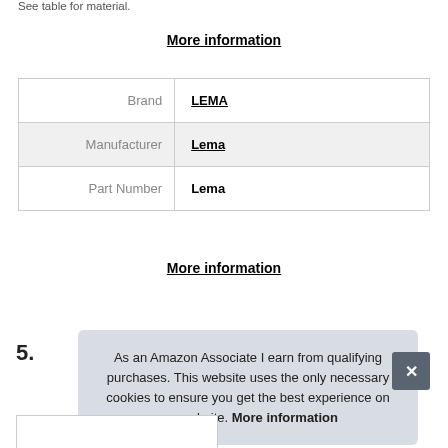See table for material.
More information
|  |  |
| --- | --- |
| Brand | LEMA |
| Manufacturer | Lema |
| Part Number | Lema |
More information
5.
As an Amazon Associate I earn from qualifying purchases. This website uses the only necessary cookies to ensure you get the best experience on our website. More information